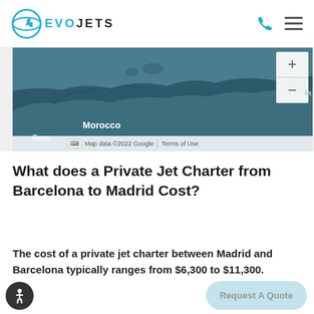EVOJETS
[Figure (map): Google Maps showing Mediterranean region with Morocco visible, zoom controls (+/-) on the right side]
Google Map data ©2022 Google Terms of Use
What does a Private Jet Charter from Barcelona to Madrid Cost?
The cost of a private jet charter between Madrid and Barcelona typically ranges from $6,300 to $11,300.